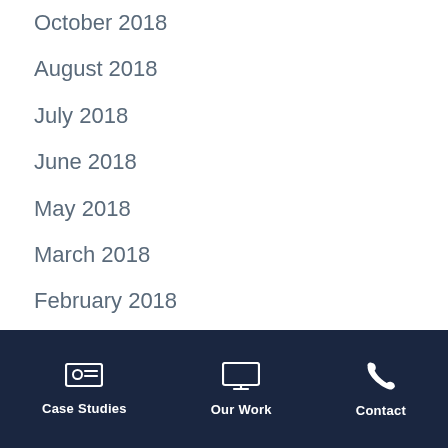October 2018
August 2018
July 2018
June 2018
May 2018
March 2018
February 2018
December 2017
October 2017
Case Studies | Our Work | Contact